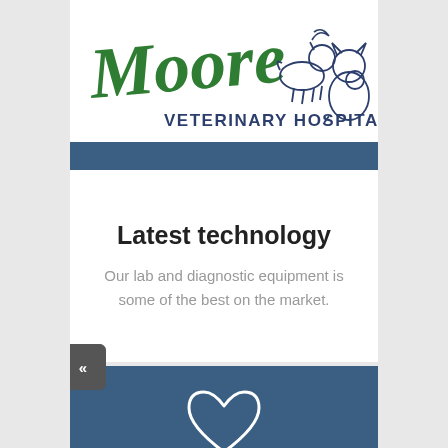[Figure (logo): Moore Veterinary Hospital logo with stylized green cursive 'Moore' text and outline illustrations of a dog, cat, and bird]
Latest technology
Our lab and diagnostic equipment is some of the best on the market.
[Figure (illustration): White outline heart icon on dark blue background]